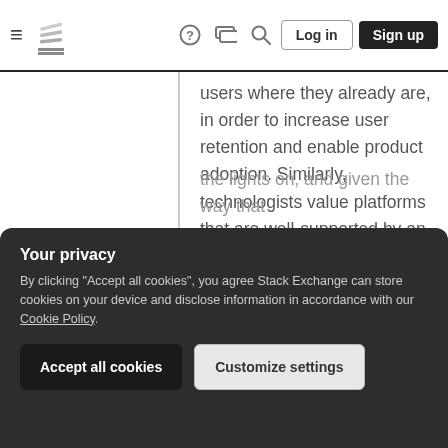Stack Exchange — Log in / Sign up navigation bar
users where they already are, in order to increase user retention and enable product adoption. Similarly, technologists value platforms that are well-supported by an active tech community, and have a strong desire to engage with the people building and supporting those platforms. They are interested in the opportunity to more easily provide feedback and learnings from their product use that could shape changes, improvements, and even new products.
the lights on, and given the way that
Your privacy
By clicking "Accept all cookies", you agree Stack Exchange can store cookies on your device and disclose information in accordance with our Cookie Policy.